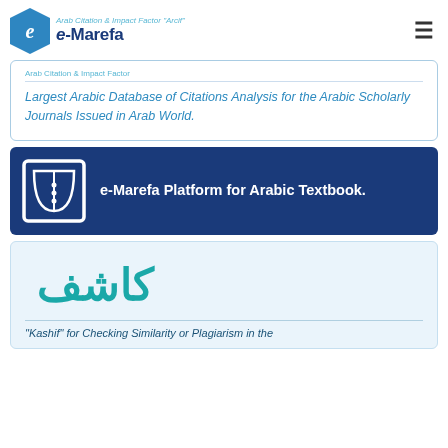Arab Citation & Impact Factor "Arcif" e-Marefa
Largest Arabic Database of Citations Analysis for the Arabic Scholarly Journals Issued in Arab World.
e-Marefa Platform for Arabic Textbook.
[Figure (logo): Kashif Arabic logo - stylized Arabic calligraphy in teal/cyan color]
"Kashif" for Checking Similarity or Plagiarism in the